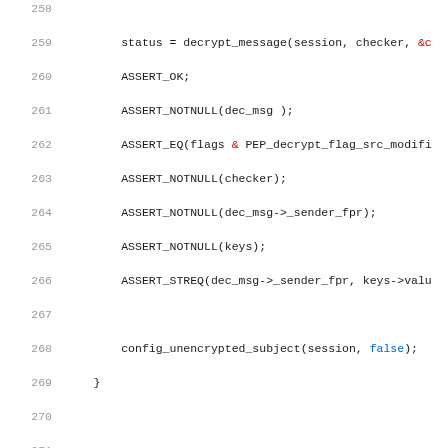[Figure (screenshot): Source code listing showing C++ test code lines 258-279, with syntax highlighting. Line numbers in gray on left, code in monospace. Keywords 'false' and 'true' highlighted in blue, '&' operator in red.]